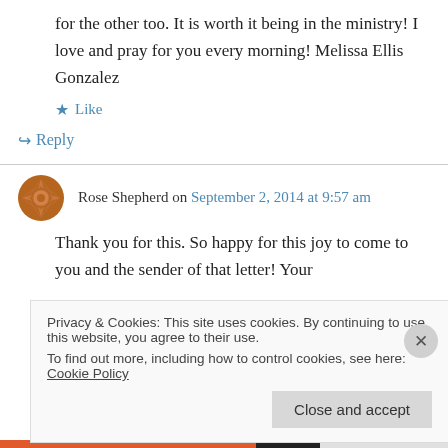for the other too. It is worth it being in the ministry! I love and pray for you every morning! Melissa Ellis Gonzalez
★ Like
↪ Reply
Rose Shepherd on September 2, 2014 at 9:57 am
Thank you for this. So happy for this joy to come to you and the sender of that letter! Your
Privacy & Cookies: This site uses cookies. By continuing to use this website, you agree to their use.
To find out more, including how to control cookies, see here: Cookie Policy
Close and accept